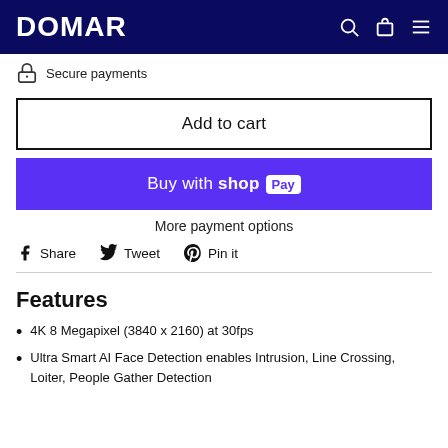DOMAR
Secure payments
Add to cart
Buy with shop Pay
More payment options
Share  Tweet  Pin it
Features
4K 8 Megapixel (3840 x 2160) at 30fps
Ultra Smart AI Face Detection enables Intrusion, Line Crossing, Loiter, People Gather Detection